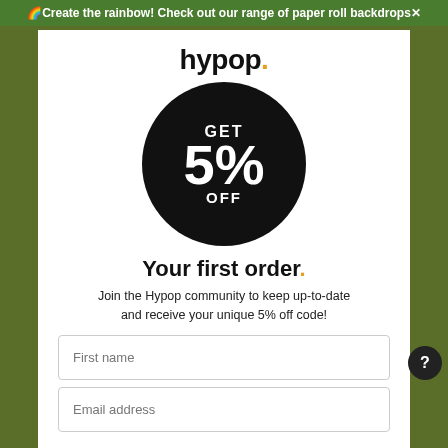🌈Create the rainbow! Check out our range of paper roll backdrops✕
hypop.
[Figure (illustration): Black circle with white text: GET 5% OFF]
Your first order.
Join the Hypop community to keep up-to-date and receive your unique 5% off code!
First name
Email address